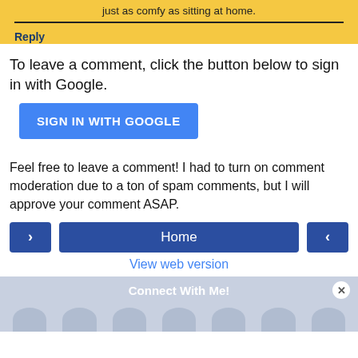just as comfy as sitting at home.
Reply
To leave a comment, click the button below to sign in with Google.
SIGN IN WITH GOOGLE
Feel free to leave a comment! I had to turn on comment moderation due to a ton of spam comments, but I will approve your comment ASAP.
Home
View web version
Connect With Me!